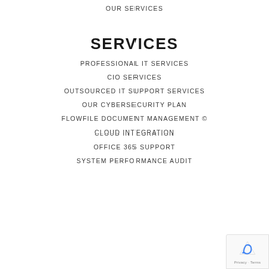OUR SERVICES
SERVICES
PROFESSIONAL IT SERVICES
CIO SERVICES
OUTSOURCED IT SUPPORT SERVICES
OUR CYBERSECURITY PLAN
FLOWFILE DOCUMENT MANAGEMENT ©
CLOUD INTEGRATION
OFFICE 365 SUPPORT
SYSTEM PERFORMANCE AUDIT